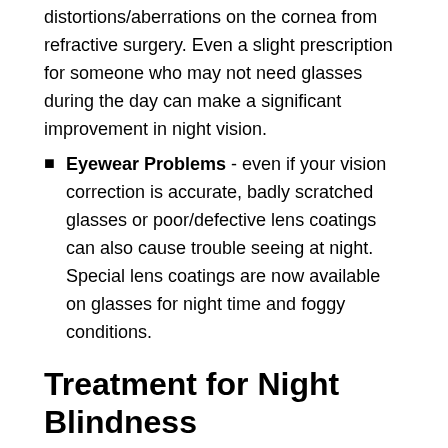distortions/aberrations on the cornea from refractive surgery. Even a slight prescription for someone who may not need glasses during the day can make a significant improvement in night vision.
Eyewear Problems - even if your vision correction is accurate, badly scratched glasses or poor/defective lens coatings can also cause trouble seeing at night. Special lens coatings are now available on glasses for night time and foggy conditions.
Treatment for Night Blindness
Some causes for night blindness are treatable, while others are not, so the first step is a comprehensive eye exam to determine what the root of the problem